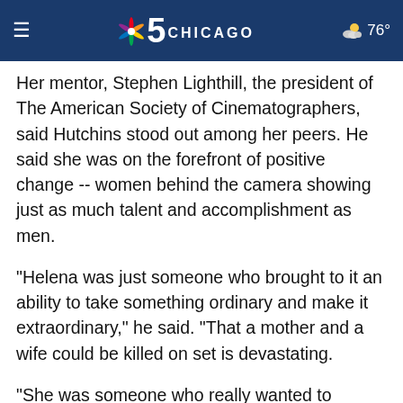NBC 5 Chicago — 76°
Her mentor, Stephen Lighthill, the president of The American Society of Cinematographers, said Hutchins stood out among her peers. He said she was on the forefront of positive change -- women behind the camera showing just as much talent and accomplishment as men.
"Helena was just someone who brought to it an ability to take something ordinary and make it extraordinary," he said. "That a mother and a wife could be killed on set is devastating.
"She was someone who really wanted to succeed and she was willing to hear the tough lessons that needed to be learned."
On her Instagram page, Hutchins identified herself as a